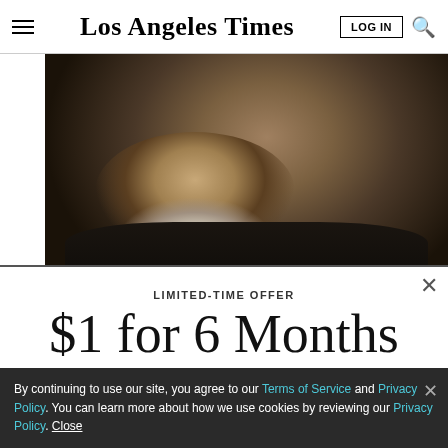Los Angeles Times
[Figure (photo): Close-up photo of an elderly man with a white beard wearing a dark shirt, cropped to show face and upper torso in dim lighting.]
Tommy Chong: the Horrifying Truth About CBD
LIMITED-TIME OFFER
$1 for 6 Months
SUBSCRIBE NOW
By continuing to use our site, you agree to our Terms of Service and Privacy Policy. You can learn more about how we use cookies by reviewing our Privacy Policy. Close